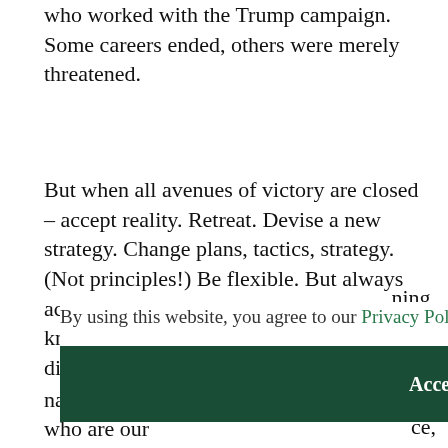who worked with the Trump campaign. Some careers ended, others were merely threatened.
But when all avenues of victory are closed – accept reality. Retreat. Devise a new strategy. Change plans, tactics, strategy. (Not principles!) Be flexible. But always acknowledge reality. Being an adult means knowing when to fold 'em, and find a different path.
ning, orced ntity- upid ce, d
By using this website, you agree to our Privacy Policy and Cookie Policy.
Accept
nations, and kowtowing to the Chinese, who are our